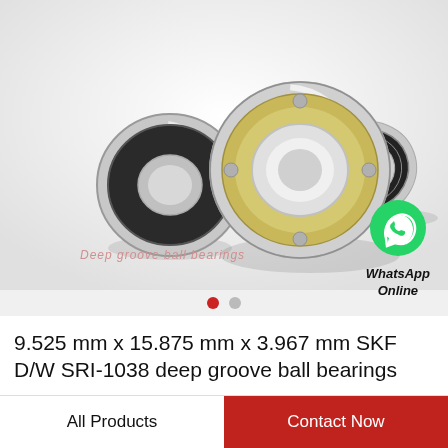[Figure (photo): Three deep groove ball bearings shown at different angles — a rubber-sealed bearing on the left, an open/gold-colored bearing in the center, and a metal-shielded bearing on the right. A WhatsApp Online contact badge appears in the lower right of the image. Text watermark reads 'Deep groove ball bearings'.]
9.525 mm x 15.875 mm x 3.967 mm SKF D/W SRI-1038 deep groove ball bearings
All Products | Contact Now